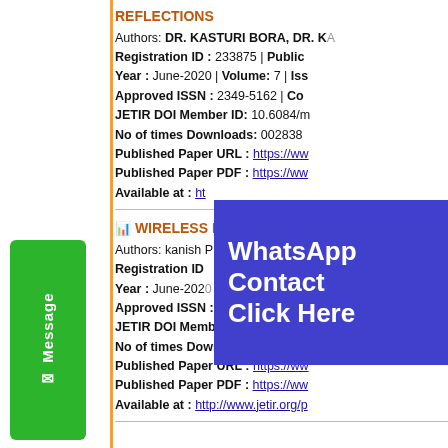REFLECTIONS
Authors: DR. KASTURI BORA, DR. KA...
Registration ID : 233875 | Public...
Year : June-2020 | Volume: 7 | Iss...
Approved ISSN : 2349-5162 | Co...
JETIR DOI Member ID: 10.6084/m...
No of times Downloads: 002838...
Published Paper URL : https://ww...
Published Paper PDF : https://ww...
Available at : ht...
WIRELESS H...
Authors: kanish P...
Registration ID...
Year : June-2020 | Volume: 7 | Iss...
Approved ISSN : 2349-5162 | Co...
JETIR DOI Member ID: 10.6084/m...
No of times Downloads: 002838...
Published Paper URL : https://ww...
Published Paper PDF : https://ww...
Available at : http://www.jetir.org/p...